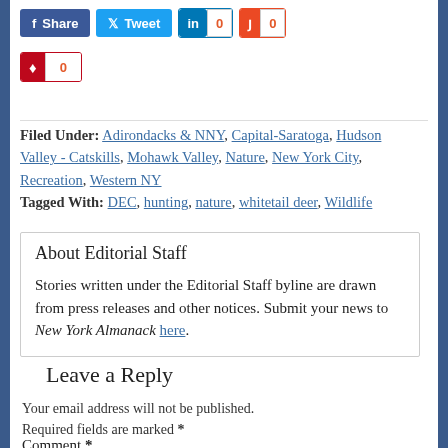[Figure (other): Social sharing buttons row: Facebook Share, Twitter Tweet, LinkedIn (0), StumbleUpon (0)]
[Figure (other): Social sharing buttons row 2: Pinterest (0)]
Filed Under: Adirondacks & NNY, Capital-Saratoga, Hudson Valley - Catskills, Mohawk Valley, Nature, New York City, Recreation, Western NY
Tagged With: DEC, hunting, nature, whitetail deer, Wildlife
About Editorial Staff
Stories written under the Editorial Staff byline are drawn from press releases and other notices. Submit your news to New York Almanack here.
Leave a Reply
Your email address will not be published. Required fields are marked *
Comment *